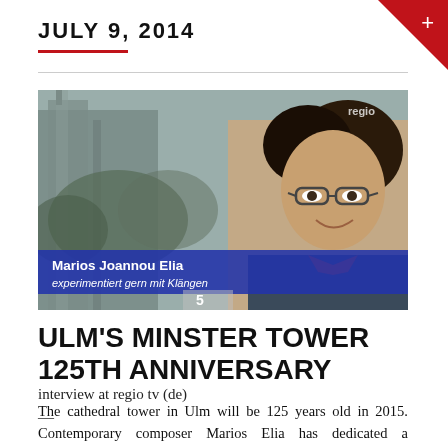JULY 9, 2014
[Figure (photo): TV interview screenshot showing Marios Joannou Elia, a man with dark curly hair and glasses, in front of a cathedral. A blue lower-third banner reads 'Marios Joannou Elia experimentiert gern mit Klängen'. A small 'regio' watermark appears top right.]
ULM'S MINSTER TOWER 125th ANNIVERSARY
interview at regio tv (de)
—
The cathedral tower in Ulm will be 125 years old in 2015. Contemporary composer Marios Elia has dedicated a celebratory musical work